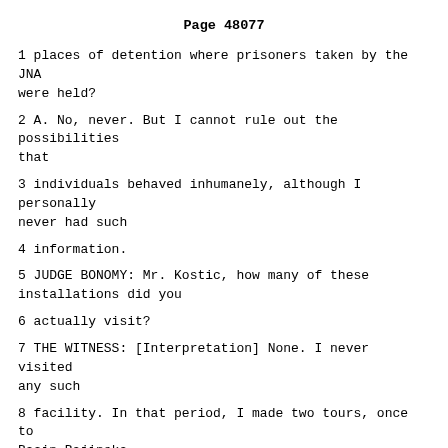Page 48077
1 places of detention where prisoners taken by the JNA were held?
2 A. No, never. But I cannot rule out the possibilities that
3 individuals behaved inhumanely, although I personally never had such
4 information.
5 JUDGE BONOMY: Mr. Kostic, how many of these installations did you
6 actually visit?
7 THE WITNESS: [Interpretation] None. I never visited any such
8 facility. In that period, I made two tours, once to Bacin Bajinska
9 [phoen] --
10 JUDGE BONOMY: You've answered my question. In light of that, it
11 seems to me this current line of inquiry is pointless.